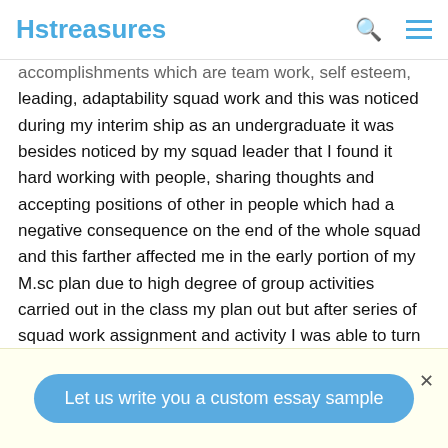Hstreasures
accomplishments which are team work, self esteem, leading, adaptability squad work and this was noticed during my interim ship as an undergraduate it was besides noticed by my squad leader that I found it hard working with people, sharing thoughts and accepting positions of other in people which had a negative consequence on the end of the whole squad and this farther affected me in the early portion of my M.sc plan due to high degree of group activities carried out in the class my plan out but after series of squad work assignment and activity I was able to turn to this issue and found out that sharing thoughts and accepting other people position was really non a hard thing to make at the terminal. Another country of call that
Let us write you a custom essay sample